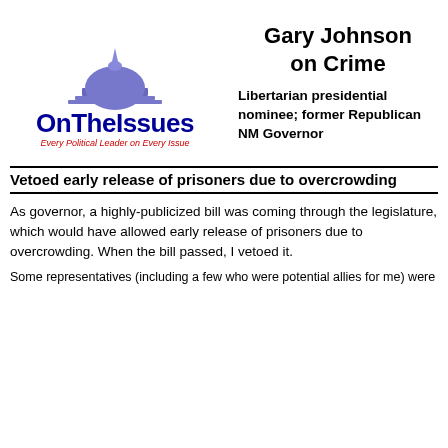[Figure (logo): OnTheIssues logo with dome graphic and tagline 'Every Political Leader on Every Issue']
Gary Johnson on Crime
Libertarian presidential nominee; former Republican NM Governor
Vetoed early release of prisoners due to overcrowding
As governor, a highly-publicized bill was coming through the legislature, which would have allowed early release of prisoners due to overcrowding. When the bill passed, I vetoed it.
Some representatives (including a few who were potential allies for me) were